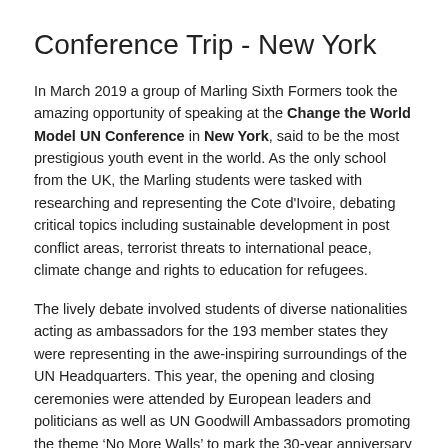Conference Trip - New York
In March 2019 a group of Marling Sixth Formers took the amazing opportunity of speaking at the Change the World Model UN Conference in New York, said to be the most prestigious youth event in the world. As the only school from the UK, the Marling students were tasked with researching and representing the Cote d'Ivoire, debating critical topics including sustainable development in post conflict areas, terrorist threats to international peace, climate change and rights to education for refugees.
The lively debate involved students of diverse nationalities acting as ambassadors for the 193 member states they were representing in the awe-inspiring surroundings of the UN Headquarters. This year, the opening and closing ceremonies were attended by European leaders and politicians as well as UN Goodwill Ambassadors promoting the theme ‘No More Walls’ to mark the 30-year anniversary of the fall of the Berlin Wall.